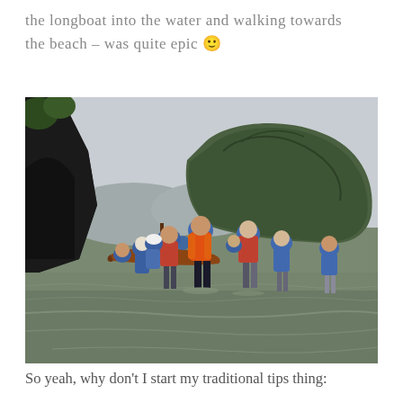the longboat into the water and walking towards the beach – was quite epic 🙂
[Figure (photo): Group of tourists in blue rain ponchos and orange life jackets wading through shallow water towards a beach. A traditional Thai longboat is visible in the background near rocky cliffs. A large rocky island with green vegetation is visible in the background under an overcast sky.]
So yeah, why don't I start my traditional tips thing: